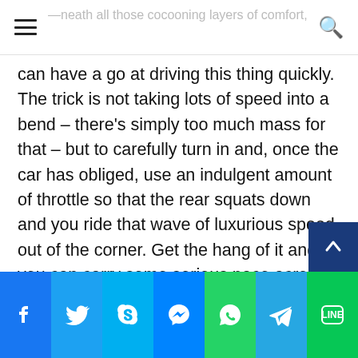≡ [partially visible header text] —neath all those cocooning layers of comfort, you Q
can have a go at driving this thing quickly. The trick is not taking lots of speed into a bend – there's simply too much mass for that – but to carefully turn in and, once the car has obliged, use an indulgent amount of throttle so that the rear squats down and you ride that wave of luxurious speed out of the corner. Get the hang of it and you can carry some serious pace across country roads.
Equally, of course, you can settle down, using the smallest smidgen of its 'Power Reserve' gauge possible (rev counters are so unclassy) and enjoy what a masterfully refined car this is. Roof up, the silence is zen-like, and full-size adults will still be comfy in the back.
Facebook | Twitter | Skype | Messenger | WhatsApp | Telegram | Line